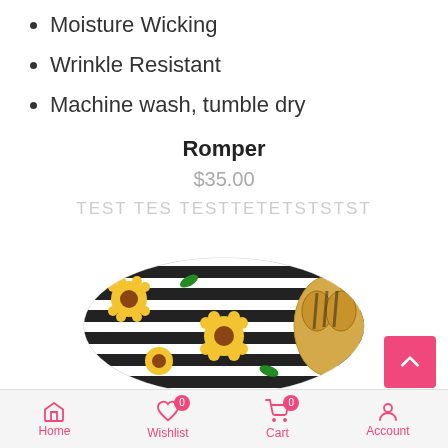Moisture Wicking
Wrinkle Resistant
Machine wash, tumble dry
Romper
$35.00
TEST TES TESTTETETSTSTST
[Figure (photo): Sunflower striped headband/hair wrap tied in a knot, shown from above. Black and white stripes with yellow sunflower print.]
[Figure (photo): Second sunflower striped headband/fabric piece, partially visible at bottom of page.]
Home   Wishlist 0   Cart 0   Account